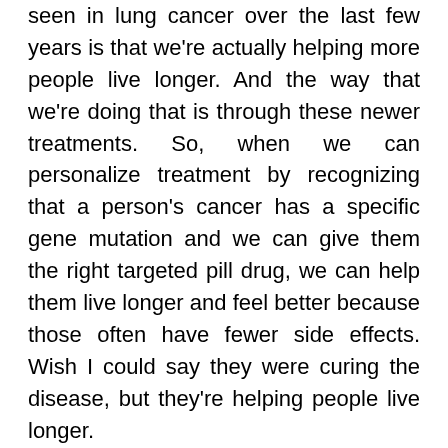seen in lung cancer over the last few years is that we're actually helping more people live longer. And the way that we're doing that is through these newer treatments. So, when we can personalize treatment by recognizing that a person's cancer has a specific gene mutation and we can give them the right targeted pill drug, we can help them live longer and feel better because those often have fewer side effects. Wish I could say they were curing the disease, but they're helping people live longer.
And, that can be measured in years for some folks, which is fantastic. And then, with immune therapy, again, they're not working for everyone, but there are some patients